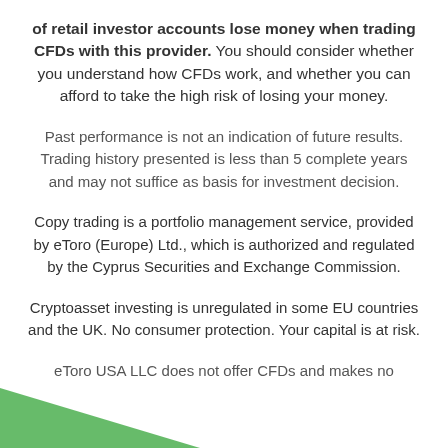of retail investor accounts lose money when trading CFDs with this provider. You should consider whether you understand how CFDs work, and whether you can afford to take the high risk of losing your money.
Past performance is not an indication of future results. Trading history presented is less than 5 complete years and may not suffice as basis for investment decision.
Copy trading is a portfolio management service, provided by eToro (Europe) Ltd., which is authorized and regulated by the Cyprus Securities and Exchange Commission.
Cryptoasset investing is unregulated in some EU countries and the UK. No consumer protection. Your capital is at risk.
eToro USA LLC does not offer CFDs and makes no